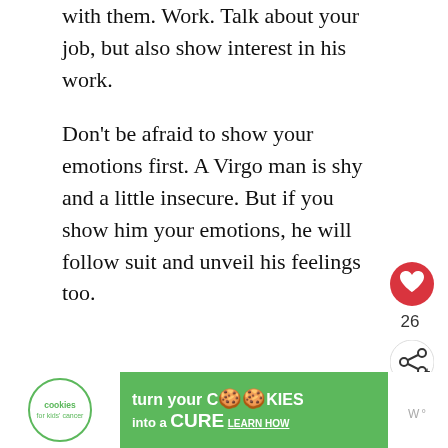with them. Work. Talk about your job, but also show interest in his work.
Don't be afraid to show your emotions first. A Virgo man is shy and a little insecure. But if you show him your emotions, he will follow suit and unveil his feelings too.
Libra (September 23 – October 22)
[Figure (other): Like/heart button (red circle with heart icon) and share button with count 26]
[Figure (other): What's Next panel showing '7 Signs His Heart Belon...' article link]
[Figure (other): Cookies for Kids' Cancer advertisement banner - 'turn your COOKIES into a CURE LEARN HOW']